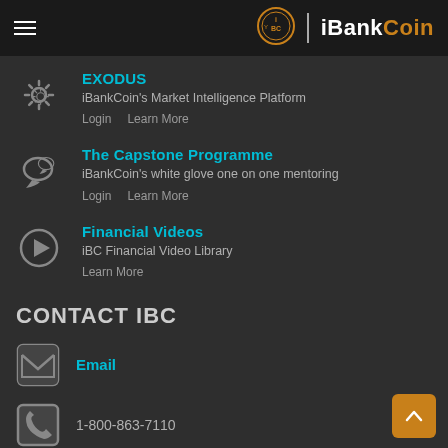iBankCoin
EXODUS
iBankCoin's Market Intelligence Platform
Login   Learn More
The Capstone Programme
iBankCoin's white glove one on one mentoring
Login   Learn More
Financial Videos
iBC Financial Video Library
Learn More
CONTACT IBC
Email
1-800-863-7110